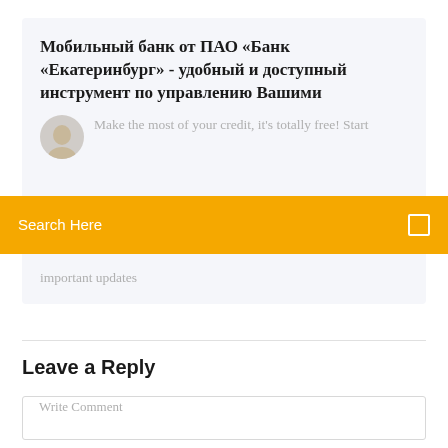Мобильный банк от ПАО «Банк «Екатеринбург» - удобный и доступный инструмент по управлению Вашими
Make the most of your credit, it's totally free! Start
Search Here
important updates
Leave a Reply
Write Comment